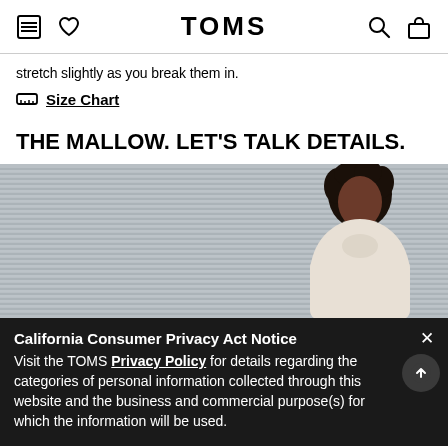TOMS
stretch slightly as you break them in.
Size Chart
THE MALLOW. LET'S TALK DETAILS.
[Figure (photo): A Black woman with curly hair wearing a white turtleneck, photographed against a corrugated metal wall background. Product lifestyle image for TOMS Mallow shoe.]
California Consumer Privacy Act Notice Visit the TOMS Privacy Policy for details regarding the categories of personal information collected through this website and the business and commercial purpose(s) for which the information will be used.